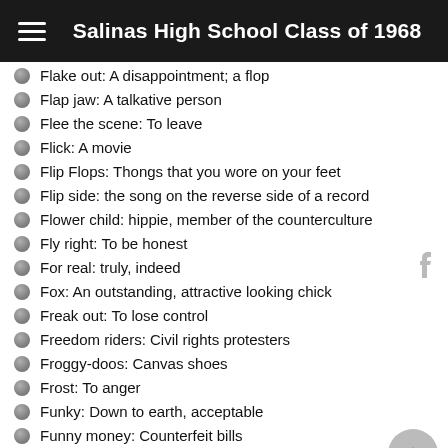Salinas High School Class of 1968
Flake out: A disappointment; a flop
Flap jaw: A talkative person
Flee the scene: To leave
Flick: A movie
Flip Flops: Thongs that you wore on your feet
Flip side: the song on the reverse side of a record
Flower child: hippie, member of the counterculture
Fly right: To be honest
For real: truly, indeed
Fox: An outstanding, attractive looking chick
Freak out: To lose control
Freedom riders: Civil rights protesters
Froggy-doos: Canvas shoes
Frost: To anger
Funky: Down to earth, acceptable
Funny money: Counterfeit bills
Funky: Excellent